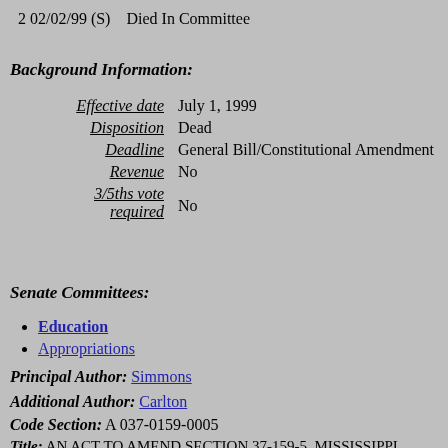2 02/02/99 (S)    Died In Committee
Background Information:
Effective date: July 1, 1999
Disposition: Dead
Deadline: General Bill/Constitutional Amendment
Revenue: No
3/5ths vote required: No
Senate Committees:
Education
Appropriations
Principal Author: Simmons
Additional Author: Carlton
Code Section: A 037-0159-0005
Title: AN ACT TO AMEND SECTION 37-159-5, MISSISSIPPI